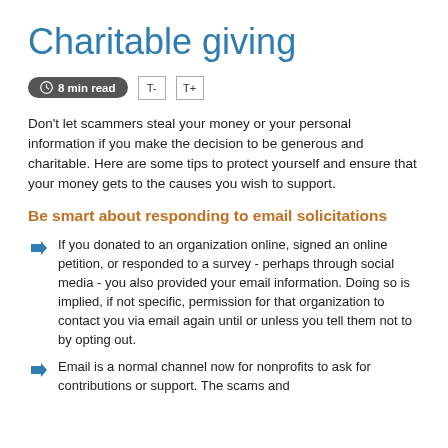Charitable giving
8 min read
Don't let scammers steal your money or your personal information if you make the decision to be generous and charitable. Here are some tips to protect yourself and ensure that your money gets to the causes you wish to support.
Be smart about responding to email solicitations
If you donated to an organization online, signed an online petition, or responded to a survey - perhaps through social media - you also provided your email information. Doing so is implied, if not specific, permission for that organization to contact you via email again until or unless you tell them not to by opting out.
Email is a normal channel now for nonprofits to ask for contributions or support. The scams and